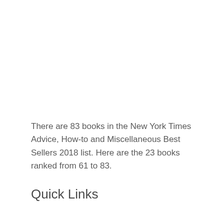There are 83 books in the New York Times Advice, How-to and Miscellaneous Best Sellers 2018 list. Here are the 23 books ranked from 61 to 83.
Quick Links